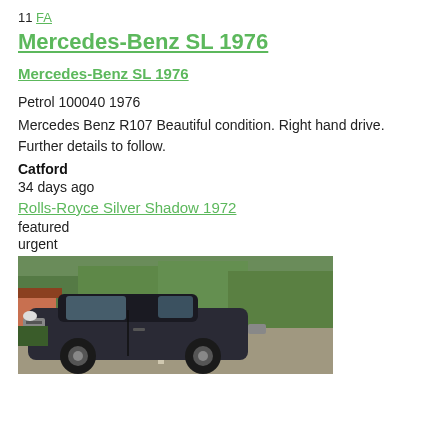11 FA
Mercedes-Benz SL 1976
Mercedes-Benz SL 1976
Petrol 100040 1976
Mercedes Benz R107 Beautiful condition. Right hand drive. Further details to follow.
Catford
34 days ago
Rolls-Royce Silver Shadow 1972
featured
urgent
[Figure (photo): A dark-colored classic car (Rolls-Royce Silver Shadow 1972) parked on a tree-lined suburban road, photographed from the front-left angle. Green trees visible in the background.]